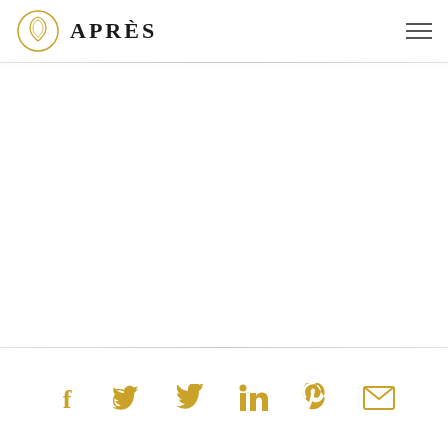APRÈS
[Figure (logo): Après brand logo: circular golden emblem with stylized leaf/flame motif, beside the text APRÈS in serif font]
Social share icons: Facebook, Twitter, LinkedIn, Pinterest, Email